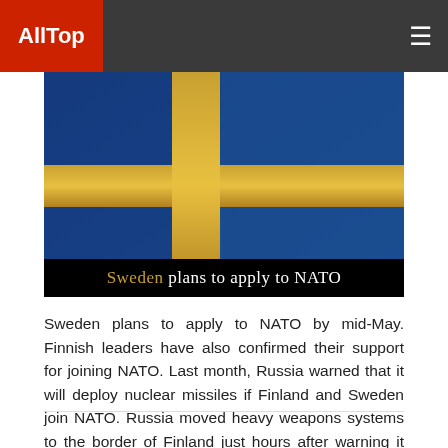AllTop
[Figure (photo): Swedish flag with blue background and gold cross, used as a thumbnail for a news article. Overlaid black bar with caption 'Sweden plans to apply to NATO'.]
Sweden plans to apply to NATO
Sweden plans to apply to NATO by mid-May. Finnish leaders have also confirmed their support for joining NATO. Last month, Russia warned that it will deploy nuclear missiles if Finland and Sweden join NATO. Russia moved heavy weapons systems to the border of Finland just hours after warning it not to join NATO. Russia has … Read More